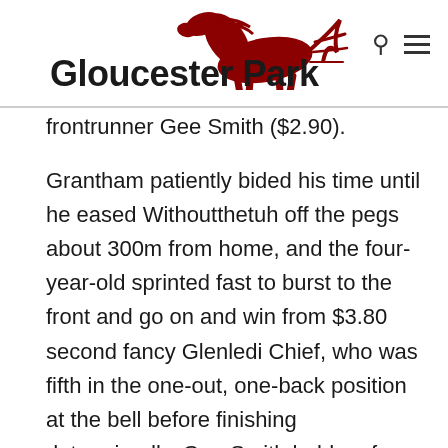Gloucester Park
frontrunner Gee Smith ($2.90).
Grantham patiently bided his time until he eased Withoutthetuh off the pegs about 300m from home, and the four-year-old sprinted fast to burst to the front and go on and win from $3.80 second fancy Glenledi Chief, who was fifth in the one-out, one-back position at the bell before finishing determinedly. Gee Smith held on for third, with the $2.80 favourite finishing fifth after